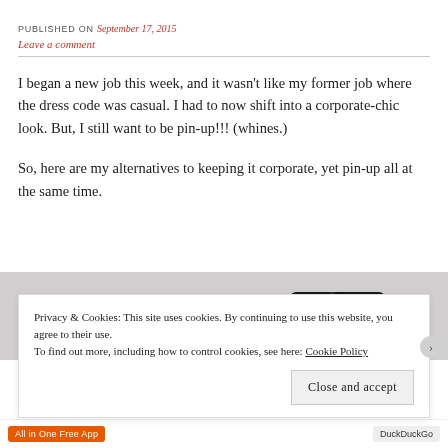PUBLISHED ON September 17, 2015
Leave a comment
I began a new job this week, and it wasn't like my former job where the dress code was casual. I had to now shift into a corporate-chic look. But, I still want to be pin-up!!! (whines.)
So, here are my alternatives to keeping it corporate, yet pin-up all at the same time.
[Figure (photo): Partial photo of clothing items visible behind cookie consent banner]
Privacy & Cookies: This site uses cookies. By continuing to use this website, you agree to their use.
To find out more, including how to control cookies, see here: Cookie Policy
Close and accept